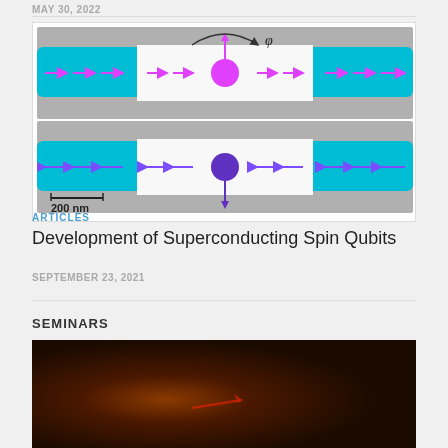MAY 30, 2022
[Figure (illustration): Two-panel scientific diagram showing spin qubit device. Top panel: cyan/blue nanowire with white gap region, magenta arrows pointing right along wire, pink sphere in gap with upward arrow, arc arrow labeled phi above. Bottom panel: same structure with purple arrows pointing left, purple sphere with downward arrow, scale bar reading 200 nm.]
ARTICLES
Development of Superconducting Spin Qubits
SEPTEMBER 23, 2021
SEMINARS
[Figure (photo): Dark image with reddish-orange glow and faint red arrow/line visible, appears to be a laboratory or seminar photo.]